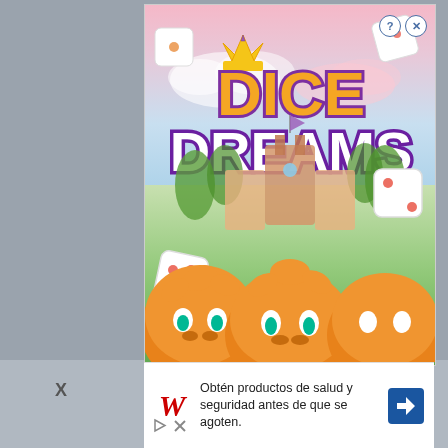[Figure (screenshot): Dice Dreams mobile game advertisement showing the game title 'DICE DREAMS' in large orange and white letters with purple outline, floating dice, cartoon castle in background, orange character faces at bottom, on a pink-blue sky gradient background. Top-right has help (?) and close (X) circle buttons.]
X
[Figure (logo): Walgreens red cursive W logo]
Obtén productos de salud y seguridad antes de que se agoten.
[Figure (infographic): Blue diamond-shaped navigation/direction arrow button]